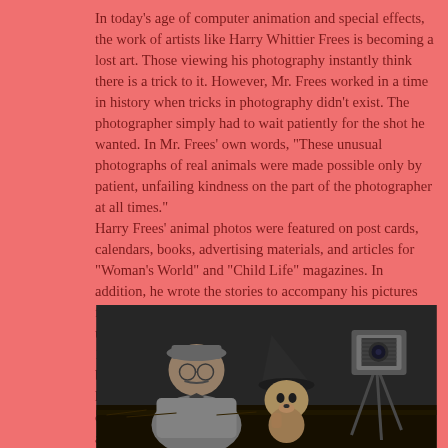In today's age of computer animation and special effects, the work of artists like Harry Whittier Frees is becoming a lost art. Those viewing his photography instantly think there is a trick to it. However, Mr. Frees worked in a time in history when tricks in photography didn't exist. The photographer simply had to wait patiently for the shot he wanted. In Mr. Frees' own words, "These unusual photographs of real animals were made possible only by patient, unfailing kindness on the part of the photographer at all times."
Harry Frees' animal photos were featured on post cards, calendars, books, advertising materials, and articles for "Woman's World" and "Child Life" magazines. In addition, he wrote the stories to accompany his pictures for the books and magazines. His photos continued to be used after his death in Rand McNally Elf Books in the 1950s and 1960s. More recently, his older books have been reproduced by Merrimack and Shackman publishers here in the United States. Version of his books appear in other countries like England and Bulgaria, however, these are most likely pirated versions.
[Figure (photo): Black and white photograph of Harry Whittier Frees posing with a dog wearing a witch hat, and a large format camera visible on the right side.]